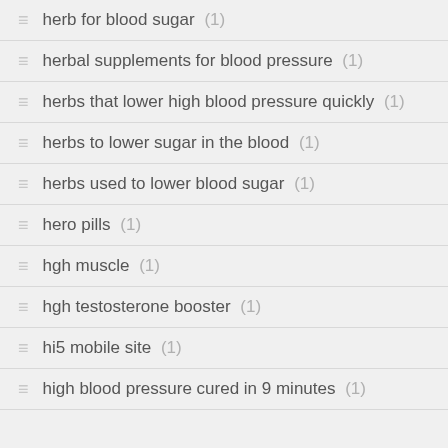herb for blood sugar (1)
herbal supplements for blood pressure (1)
herbs that lower high blood pressure quickly (1)
herbs to lower sugar in the blood (1)
herbs used to lower blood sugar (1)
hero pills (1)
hgh muscle (1)
hgh testosterone booster (1)
hi5 mobile site (1)
high blood pressure cured in 9 minutes (1)